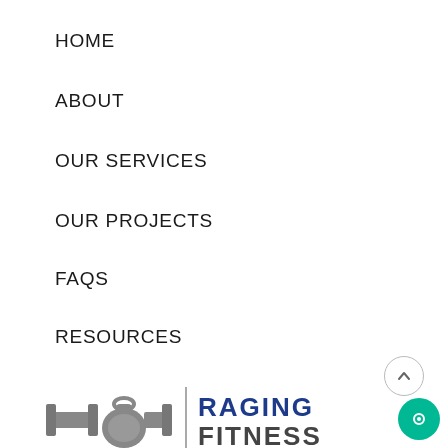HOME
ABOUT
OUR SERVICES
OUR PROJECTS
FAQS
RESOURCES
[Figure (logo): Raging Fitness logo with kettlebell and barbell graphic on left, vertical bar divider, then RAGING FITNESS text in bold blue and dark gray]
We are a Health, Fitness and Wellness Brand. We have a strong ethos in which our business is run.